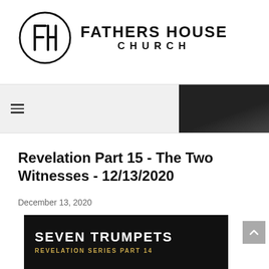[Figure (logo): Fathers House Church logo: a circle with stylized FH letters inside, next to the text FATHERS HOUSE CHURCH in bold sans-serif]
[Figure (screenshot): Website navigation bar with hamburger menu icon on left and a dark image thumbnail on the right]
Revelation Part 15 - The Two Witnesses - 12/13/2020
December 13, 2020
[Figure (photo): Dark promotional image with white bold text reading SEVEN TRUMPETS and gold text reading REVELATION SERIES PART 14, with a gray scroll-to-top button on the right]